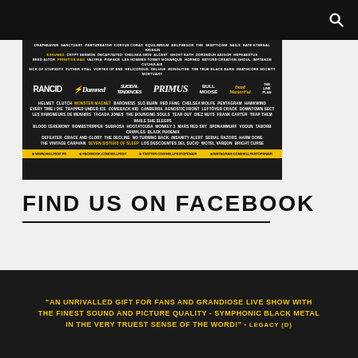[Figure (photo): Hellfest festival lineup poster with band names in various sizes and styles on dark background, with logos for Rancid, The Damned, Suicidal Tendencies, Primus and others, and a yellow footer bar with social media links]
FIND US ON FACEBOOK
"AN UNRIVALLED GIFT FOR FANS AND GRANDIOSE LIVE SHOW WITH THE FINEST SOUND AND PICTURE QUALITY - SYMPHONIC BLACK METAL IN THE VERY TRUEST SENSE OF THE WORD!" - LEGACY (D)